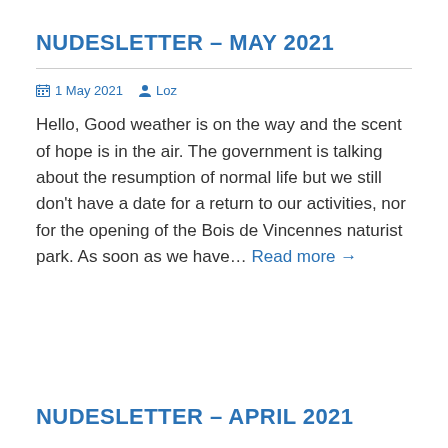NUDESLETTER – MAY 2021
1 May 2021   Loz
Hello, Good weather is on the way and the scent of hope is in the air. The government is talking about the resumption of normal life but we still don't have a date for a return to our activities, nor for the opening of the Bois de Vincennes naturist park. As soon as we have… Read more →
NUDESLETTER – APRIL 2021